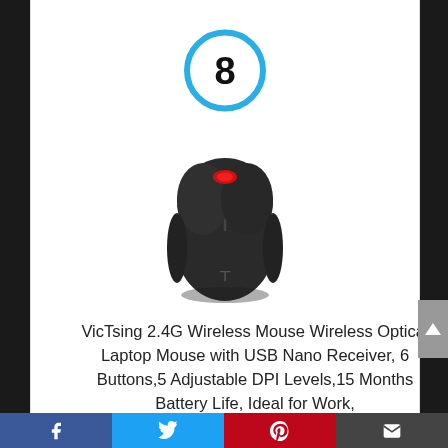[Figure (other): Number 8 inside a blue circle ring, indicating rank #8]
[Figure (photo): VicTsing black wireless optical mouse with red LED light and USB nano receiver]
VicTsing 2.4G Wireless Mouse Wireless Optical Laptop Mouse with USB Nano Receiver, 6 Buttons,5 Adjustable DPI Levels,15 Months Battery Life, Ideal for Work,
[Figure (infographic): Social sharing bar at bottom with Facebook, Twitter, Pinterest, and Email icons]